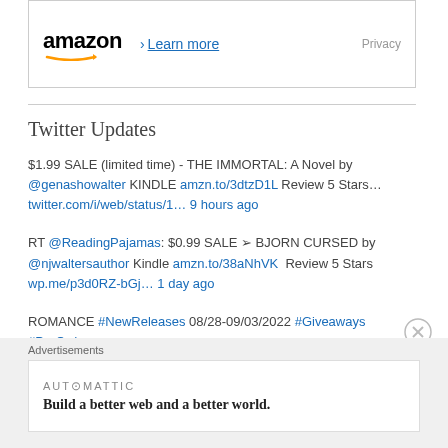[Figure (other): Amazon advertisement banner with Amazon logo, 'Learn more' link, and 'Privacy' text]
Twitter Updates
$1.99 SALE (limited time) - THE IMMORTAL: A Novel by @genashowalter KINDLE amzn.to/3dtzD1L Review 5 Stars… twitter.com/i/web/status/1… 9 hours ago
RT @ReadingPajamas: $0.99 SALE ➢ BJORN CURSED by @njwaltersauthor Kindle amzn.to/38aNhVK  Review 5 Stars wp.me/p3d0RZ-bGj… 1 day ago
ROMANCE #NewReleases 08/28-09/03/2022 #Giveaways #PreOrders #Freebies & #Deals ► bit.ly/3TpFDMH https://t.co/4IKumsVGJO
Advertisements
[Figure (other): Automattic advertisement: 'Build a better web and a better world.']